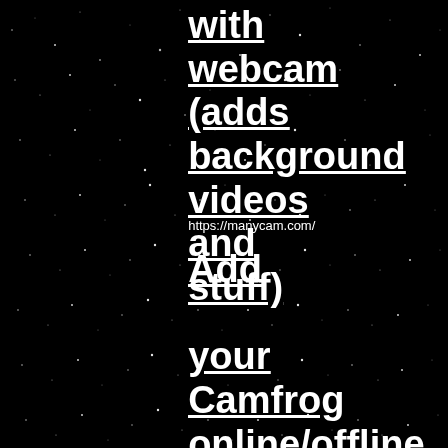[Figure (photo): Dark starry night sky background with scattered white dots representing stars on a black background]
with webcam (adds background videos and stuff)
https://manycam.com/
Add your Camfrog online/offline status to your web